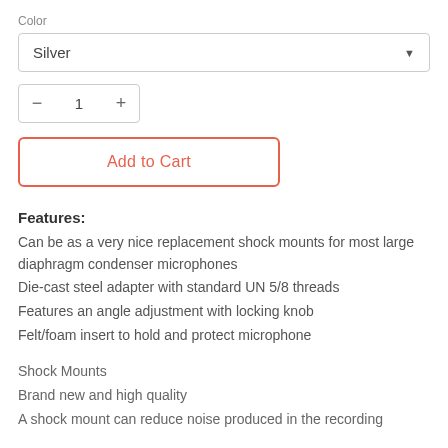Color
Silver
1
Add to Cart
Features:
Can be as a very nice replacement shock mounts for most large diaphragm condenser microphones
Die-cast steel adapter with standard UN 5/8 threads
Features an angle adjustment with locking knob
Felt/foam insert to hold and protect microphone
Shock Mounts
Brand new and high quality
A shock mount can reduce noise produced in the recording